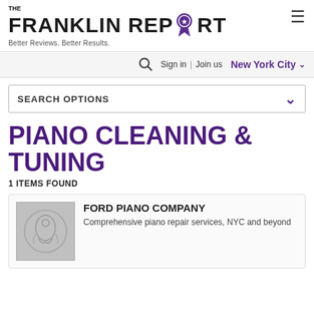[Figure (logo): The Franklin Report logo with ribbon rosette award icon and tagline 'Better Reviews. Better Results.']
Sign in | Join us  New York City
SEARCH OPTIONS
PIANO CLEANING & TUNING
1 ITEMS FOUND
FORD PIANO COMPANY
Comprehensive piano repair services, NYC and beyond